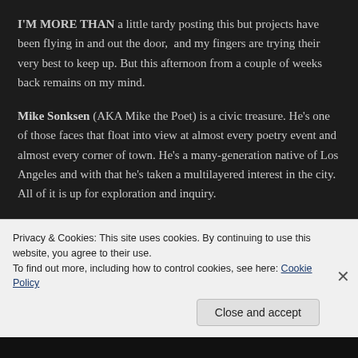I'M MORE THAN a little tardy posting this but projects have been flying in and out the door,  and my fingers are trying their very best to keep up. But this afternoon from a couple of weeks back remains on my mind.
Mike Sonksen (AKA Mike the Poet) is a civic treasure. He's one of those faces that float into view at almost every poetry event and almost every corner of town. He's a many-generation native of Los Angeles and with that he's taken a multilayered interest in the city. All of it is up for exploration and inquiry.
Privacy & Cookies: This site uses cookies. By continuing to use this website, you agree to their use.
To find out more, including how to control cookies, see here: Cookie Policy